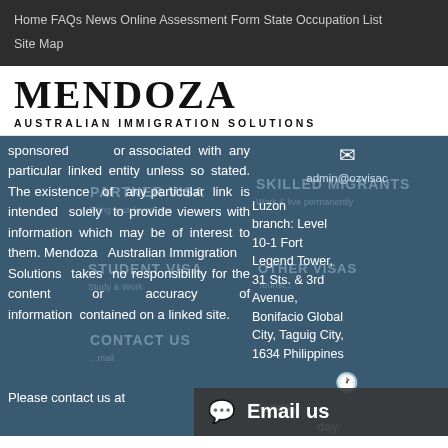Home  FAQs  News  Online Assessment Form  State Occupation List  Site Map
[Figure (logo): Mendoza Australian Immigration Solutions logo — large serif wordmark MENDOZA with tagline AUSTRALIAN IMMIGRATION SOLUTIONS]
sponsored or associated with any particular linked entity unless so stated. The existence of any particular link is intended solely to provide viewers with information which may be of interest to them. Mendoza Australian Immigration Solutions takes no responsibility for the content or accuracy of information contained on a linked site.

Please contact us at
admin@ozvisac

Luzon branch: Level 10-1 Fort Legend Tower, 31 Sts. & 3rd Avenue, Bonifacio Global City, Taguig City, 1634 Philippines

Monday [day]: [m -